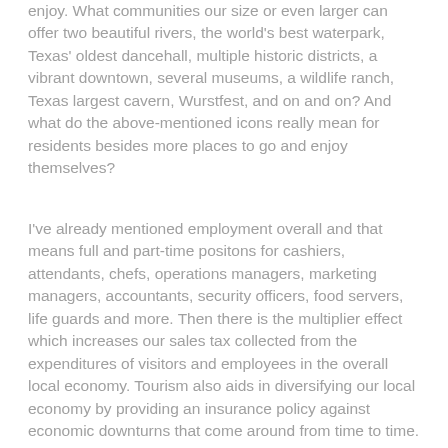enjoy.  What  communities our size or even larger can offer two beautiful rivers, the world's best waterpark, Texas' oldest dancehall, multiple historic districts, a vibrant downtown, several museums, a wildlife ranch, Texas largest cavern, Wurstfest, and on and on?   And what do the above-mentioned icons really mean for residents besides more places to go and enjoy themselves?
I've already mentioned employment overall and that means full and part-time positons for cashiers, attendants, chefs, operations managers, marketing managers, accountants, security officers, food servers, life guards and more.  Then there is the multiplier effect which increases our sales tax collected from the expenditures of visitors and employees in the overall local economy.  Tourism also aids in diversifying our local economy by providing an insurance policy against economic downturns that come around from time to time. And economic downturns do come around from time to time.